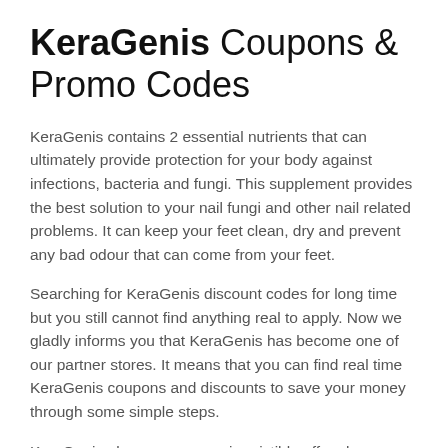KeraGenis Coupons & Promo Codes
KeraGenis contains 2 essential nutrients that can ultimately provide protection for your body against infections, bacteria and fungi. This supplement provides the best solution to your nail fungi and other nail related problems. It can keep your feet clean, dry and prevent any bad odour that can come from your feet.
Searching for KeraGenis discount codes for long time but you still cannot find anything real to apply. Now we gladly informs you that KeraGenis has become one of our partner stores. It means that you can find real time KeraGenis coupons and discounts to save your money through some simple steps.
KeraGenis also ensures you irresistible offers by offering you the discounts on every purchase.